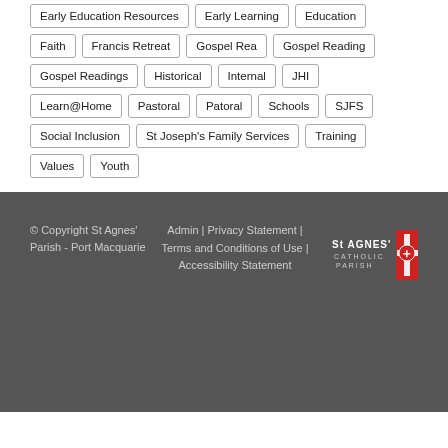Early Education Resources
Early Learning
Education
Faith
Francis Retreat
Gospel Rea
Gospel Reading
Gospel Readings
Historical
Internal
JHI
Learn@Home
Pastoral
Patoral
Schools
SJFS
Social Inclusion
St Joseph's Family Services
Training
Values
Youth
© Copyright St Agnes' Parish - Port Macquarie | Admin | Privacy Statement | Terms and Conditions of Use | Accessibility Statement
[Figure (logo): St Agnes' Catholic Parish logo with red cross emblem and text]